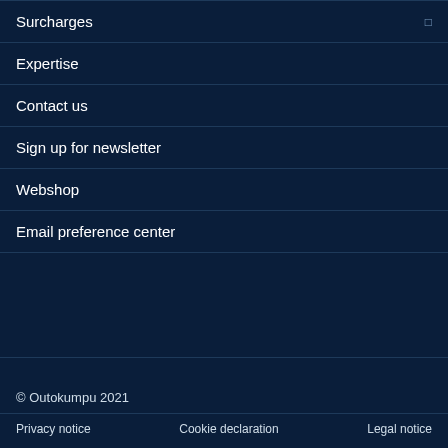Surcharges
Expertise
Contact us
Sign up for newsletter
Webshop
Email preference center
© Outokumpu 2021
Privacy notice   Cookie declaration   Legal notice